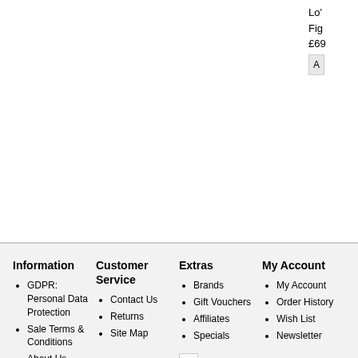Lo'
Fig
£69
A
Information
Customer Service
Extras
My Account
GDPR: Personal Data Protection
Sale Terms & Conditions
About Us
Privacy Policy
Terms & Conditions
Reward Points
Delivery Information
Contact Us
Returns
Site Map
Brands
Gift Vouchers
Affiliates
Specials
My Account
Order History
Wish List
Newsletter
[Figure (other): Broken/missing image icon]